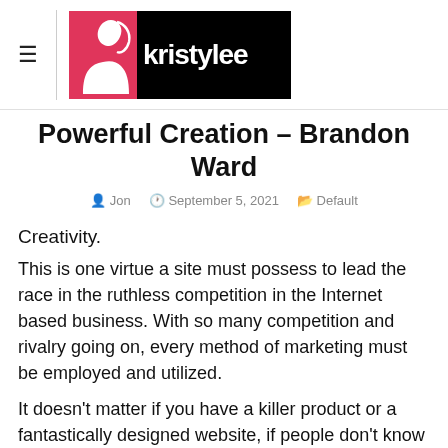[Figure (logo): Kristylee website logo with pink silhouette on black background]
Powerful Creation – Brandon Ward
Jon  September 5, 2021  Default
Creativity.
This is one virtue a site must possess to lead the race in the ruthless competition in the Internet based business. With so many competition and rivalry going on, every method of marketing must be employed and utilized.
It doesn't matter if you have a killer product or a fantastically designed website, if people don't know that you exist, it doesn't